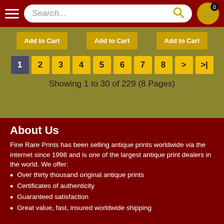Search... [navigation bar with hamburger menu, search bar, and cart icon showing 0]
Add to Cart | Add to Cart | Add to Cart
1 2 3 4 5 6 7 8 > >| — Showing 1 to 30 of 229 (8 Pages)
About Us
Fine Rare Prints has been selling antique prints worldwide via the internet since 1998 and is one of the largest antique print dealers in the world. We offer:
Over thirty thousand original antique prints
Certificates of authenticity
Guaranteed satisfaction
Great value, fast, insured worldwide shipping
Join newsletter list. Get 10% off
Information